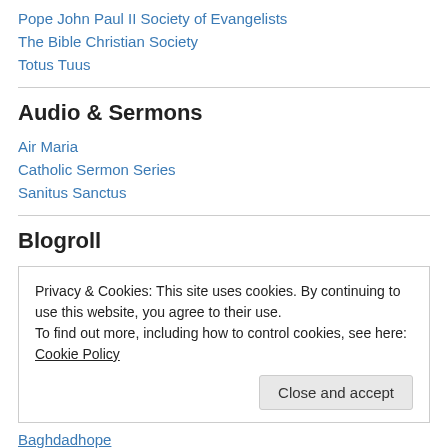Pope John Paul II Society of Evangelists
The Bible Christian Society
Totus Tuus
Audio & Sermons
Air Maria
Catholic Sermon Series
Sanitus Sanctus
Blogroll
Privacy & Cookies: This site uses cookies. By continuing to use this website, you agree to their use.
To find out more, including how to control cookies, see here: Cookie Policy
Close and accept
Baghdadhope